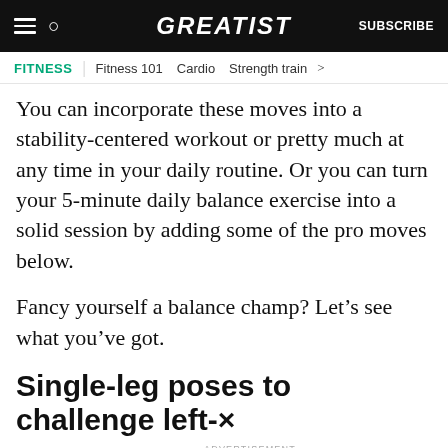GREATIST | SUBSCRIBE
FITNESS | Fitness 101 | Cardio | Strength train >
You can incorporate these moves into a stability-centered workout or pretty much at any time in your daily routine. Or you can turn your 5-minute daily balance exercise into a solid session by adding some of the pro moves below.
Fancy yourself a balance champ? Let’s see what you’ve got.
Single-leg poses to challenge left-
[Figure (other): Advertisement banner: Let’s be friends with (health) benefits. Follow GREATIST on Instagram. FOLLOW US button. Dark background with doodle decorations.]